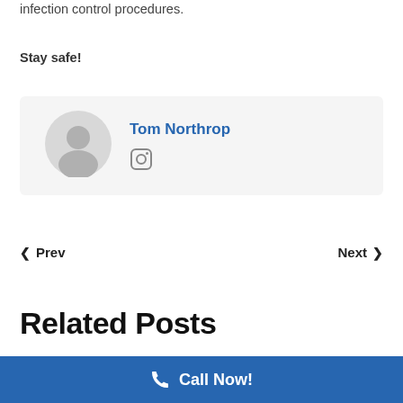infection control procedures.
Stay safe!
[Figure (illustration): Author profile box with avatar silhouette, name Tom Northrop in blue, and Instagram icon]
< Prev
Next >
Related Posts
Call Now!